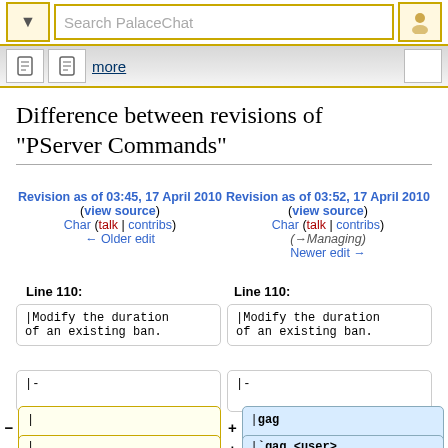Search PalaceChat
Difference between revisions of "PServer Commands"
Revision as of 03:45, 17 April 2010 (view source)
Char (talk | contribs)
← Older edit
Revision as of 03:52, 17 April 2010 (view source)
Char (talk | contribs)
(→Managing)
Newer edit →
Line 110:
Line 110:
|Modify the duration of an existing ban.
|Modify the duration of an existing ban.
|-
|-
|
|gag
|
|`gag <user>